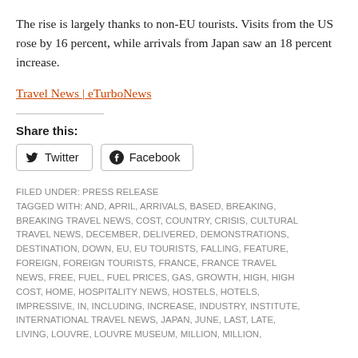The rise is largely thanks to non-EU tourists. Visits from the US rose by 16 percent, while arrivals from Japan saw an 18 percent increase.
Travel News | eTurboNews
Share this:
Twitter  Facebook
FILED UNDER: PRESS RELEASE
TAGGED WITH: AND, APRIL, ARRIVALS, BASED, BREAKING, BREAKING TRAVEL NEWS, COST, COUNTRY, CRISIS, CULTURAL TRAVEL NEWS, DECEMBER, DELIVERED, DEMONSTRATIONS, DESTINATION, DOWN, EU, EU TOURISTS, FALLING, FEATURE, FOREIGN, FOREIGN TOURISTS, FRANCE, FRANCE TRAVEL NEWS, FREE, FUEL, FUEL PRICES, GAS, GROWTH, HIGH, HIGH COST, HOME, HOSPITALITY NEWS, HOSTELS, HOTELS, IMPRESSIVE, IN, INCLUDING, INCREASE, INDUSTRY, INSTITUTE, INTERNATIONAL TRAVEL NEWS, JAPAN, JUNE, LAST, LATE, LIVING, LOUVRE, LOUVRE MUSEUM, MILLION, MILLION,